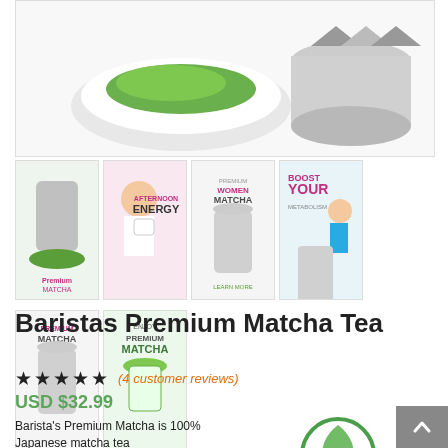[Figure (photo): Main product image showing matcha green tea powder in a white bowl next to a silver tin container]
[Figure (photo): Thumbnail 1: Product tin with matcha powder]
[Figure (photo): Thumbnail 2: Woman smiling with text Afternoon Energy]
[Figure (photo): Thumbnail 3: Premium Women Matcha product label]
[Figure (photo): Thumbnail 4: Man running with text Boost Your Metabolism]
[Figure (photo): Thumbnail 5: Premium Matcha product info sheet]
[Figure (photo): Thumbnail 6: Enjoy Matcha with green matcha drink]
Baristas Premium Matcha Tea
★★★★★ (4 customer reviews)
USD $32.99
Barista's Premium Matcha is 100% Japanese matcha tea
[Figure (logo): Green circular leaf logo]